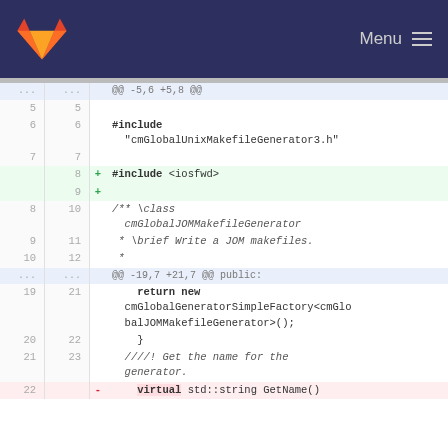Menu
[Figure (screenshot): GitLab diff view showing code changes to a C++ file. Shows hunk headers, added lines (+#include <iosfwd> and blank), and context lines with class documentation and return statement. One removed line: virtual std::string GetName()]
@@  -5,6  +5,8  @@
5  5  
6  6  #include "cmGlobalUnixMakefileGenerator3.h"
7  7  
   8  + #include <iosfwd>
   9  +
8  10  /** \class cmGlobalJOMMakefileGenerator
9  11   * \brief Write a JOM makefiles.
10 12   *
   ...  @@ -19,7 +21,7 @@ public:
19 21       return new cmGlobalGeneratorSimpleFactory<cmGlobalJOMMakefileGenerator>();
20 22     }
21 23   ////! Get the name for the generator.
22    - virtual std::string GetName()